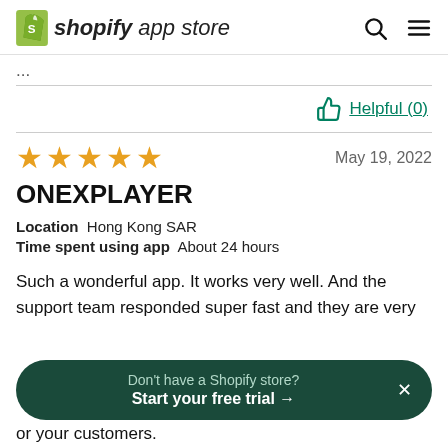shopify app store
...
Helpful (0)
★★★★★  May 19, 2022
ONEXPLAYER
Location  Hong Kong SAR
Time spent using app  About 24 hours
Such a wonderful app. It works very well. And the support team responded super fast and they are very
Don't have a Shopify store? Start your free trial →
or your customers.